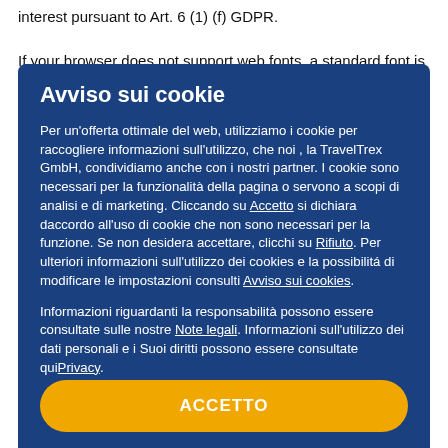interest pursuant to Art. 6 (1) (f) GDPR.
If your browser does not support web fonts, a standard font is used.
Avviso sui cookie
Per un'offerta ottimale del web, utilizziamo i cookie per raccogliere informazioni sull'utilizzo, che noi , la TravelTrex GmbH, condividiamo anche con i nostri partner. I cookie sono necessari per la funzionalità della pagina o servono a scopi di analisi e di marketing. Cliccando su Accetto si dichiara daccordo all'uso di cookie che non sono necessari per la funzione. Se non desidera accettare, clicchi su Rifiuto. Per ulteriori informazioni sull'utilizzo dei cookies e la possibilitá di modificare le impostazioni consulti Avviso sui cookies.
Informazioni riguardanti la responsabilità possono essere consultate sulle nostre Note legali. Informazioni sull'utilizzo dei dati personali e i Suoi diritti possono essere consultate quiPrivacy.
ACCETTO